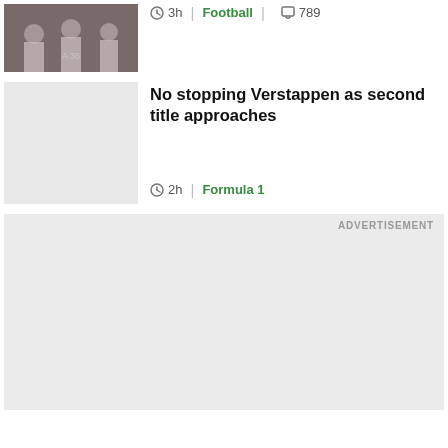[Figure (photo): Football players in white Tottenham Hotspur jerseys on a football pitch with red-shirted players in background]
3h | Football | 789
No stopping Verstappen as second title approaches
2h | Formula 1
ADVERTISEMENT